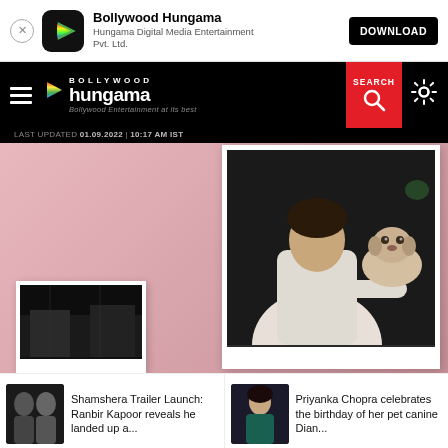Bollywood Hungama — App install banner: Hungama Digital Media Entertainment Pvt. Ltd. — DOWNLOAD
[Figure (screenshot): Bollywood Hungama website navigation bar with hamburger menu, logo, SEARCH button (red), and settings gear icon. Last updated: 01.09.2022 | 10:17 AM IST]
[Figure (photo): Two polaroid-style photos on a pink background. Main photo shows a person in a white hoodie holding a white/tan dog inside a car. Smaller photo below shows a dark indoor scene.]
LAST UPDATED 01.09.2022 | 10:17 AM IST
Shamshera Trailer Launch: Ranbir Kapoor reveals he landed up a...
Priyanka Chopra celebrates the birthday of her pet canine Dian...